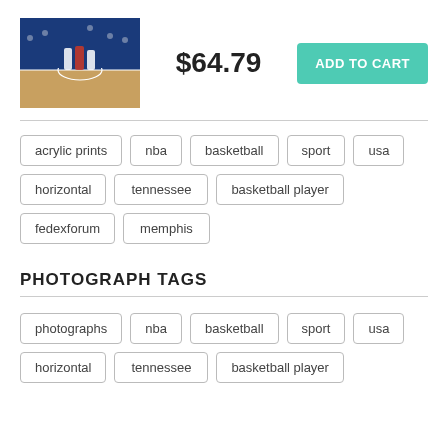[Figure (photo): Basketball game photo showing players on court]
$64.79
ADD TO CART
acrylic prints
nba
basketball
sport
usa
horizontal
tennessee
basketball player
fedexforum
memphis
PHOTOGRAPH TAGS
photographs
nba
basketball
sport
usa
horizontal
tennessee
basketball player